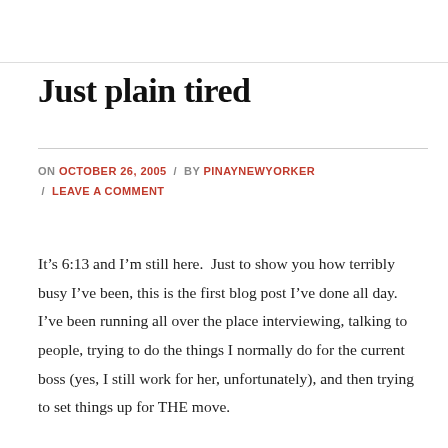Just plain tired
ON OCTOBER 26, 2005 / BY PINAYNEWYORKER / LEAVE A COMMENT
It’s 6:13 and I’m still here.  Just to show you how terribly busy I’ve been, this is the first blog post I’ve done all day.  I’ve been running all over the place interviewing, talking to people, trying to do the things I normally do for the current boss (yes, I still work for her, unfortunately), and then trying to set things up for THE move.